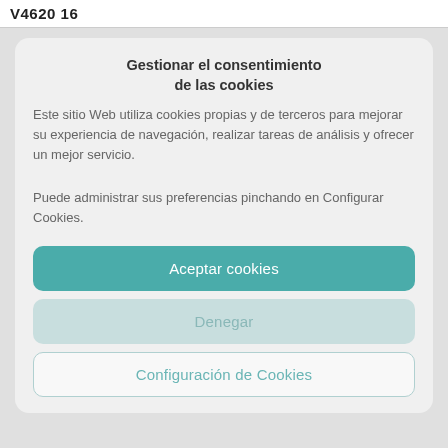V4620 16
Gestionar el consentimiento de las cookies
Este sitio Web utiliza cookies propias y de terceros para mejorar su experiencia de navegación, realizar tareas de análisis y ofrecer un mejor servicio.
Puede administrar sus preferencias pinchando en Configurar Cookies.
Aceptar cookies
Denegar
Configuración de Cookies